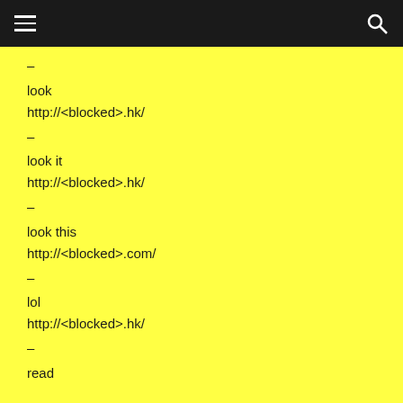navigation bar with hamburger menu and search icon
–
look
http://<blocked>.hk/
–
look it
http://<blocked>.hk/
–
look this
http://<blocked>.com/
–
lol
http://<blocked>.hk/
–
read